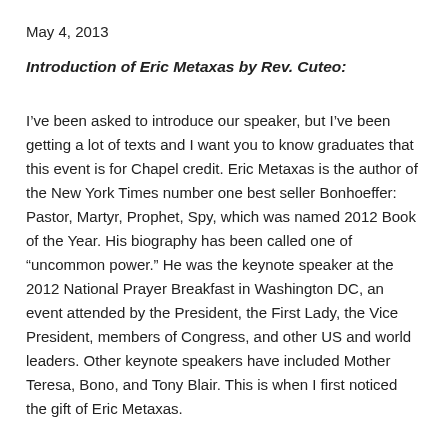May 4, 2013
Introduction of Eric Metaxas by Rev. Cuteo:
I’ve been asked to introduce our speaker, but I’ve been getting a lot of texts and I want you to know graduates that this event is for Chapel credit. Eric Metaxas is the author of the New York Times number one best seller Bonhoeffer: Pastor, Martyr, Prophet, Spy, which was named 2012 Book of the Year. His biography has been called one of “uncommon power.” He was the keynote speaker at the 2012 National Prayer Breakfast in Washington DC, an event attended by the President, the First Lady, the Vice President, members of Congress, and other US and world leaders. Other keynote speakers have included Mother Teresa, Bono, and Tony Blair. This is when I first noticed the gift of Eric Metaxas.